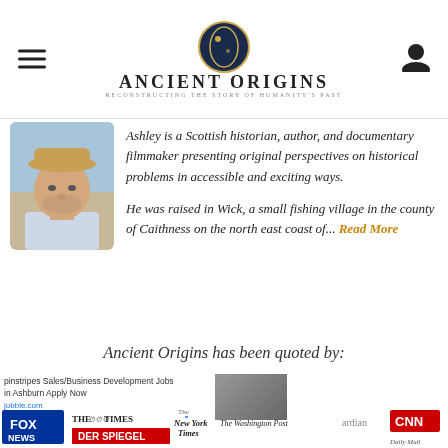Ancient Origins — Reconstructing the Story of Humanity's Past
[Figure (photo): Profile photo of Ashley Cowie, a Scottish historian wearing a hat, shown from shoulders up]
Ashley is a Scottish historian, author, and documentary filmmaker presenting original perspectives on historical problems in accessible and exciting ways.

He was raised in Wick, a small fishing village in the county of Caithness on the north east coast of... Read More
Ancient Origins has been quoted by:
[Figure (logo): Media logos: Fox News, The Sunday Times, Der Spiegel, New York Times, The Washington Post, The Guardian, CNN, Daily Mail]